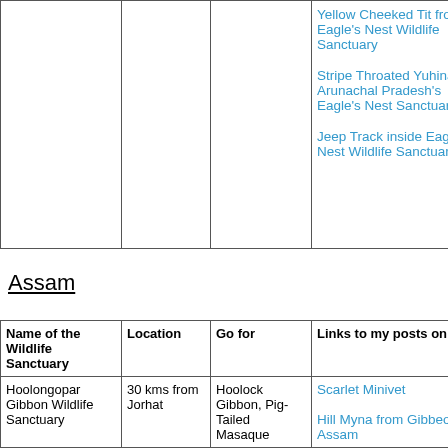| Name of the Wildlife Sanctuary | Location | Go for | Links to my posts on the Sanctuary |
| --- | --- | --- | --- |
|  |  |  | Yellow Cheeked Tit from Eagle's Nest Wildlife Sanctuary

Stripe Throated Yuhina from Arunachal Pradesh's Eagle's Nest Sanctuary

Jeep Track inside Eagle's Nest Wildlife Sanctuary |
Assam
| Name of the Wildlife Sanctuary | Location | Go for | Links to my posts on the Sanctuary |
| --- | --- | --- | --- |
| Hoolongopar Gibbon Wildlife Sanctuary | 30 kms from Jorhat | Hoolock Gibbon, Pig-Tailed Macaque | Scarlet Minivet

Hill Myna from Gibbon Wildlife Sanctuary, Assam |